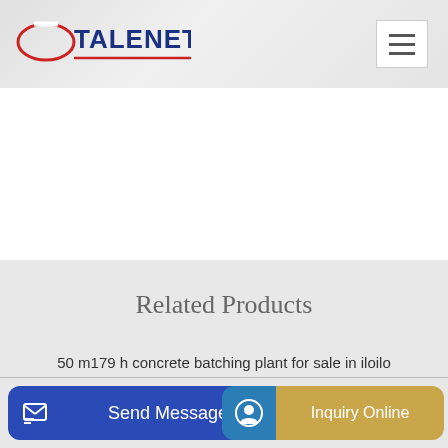TALENET
Related Products
50 m179 h concrete batching plant for sale in iloilo
Concrete mixer truck IVECO 310 16587 USD
Send Message    conc    Inquiry Online